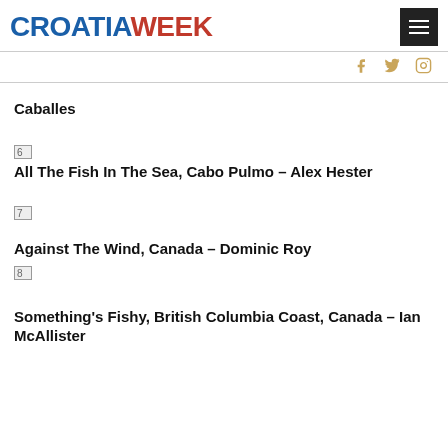CROATIAWEEK
Caballes
[Figure (other): Broken image placeholder numbered 6]
All The Fish In The Sea, Cabo Pulmo – Alex Hester
[Figure (other): Broken image placeholder numbered 7]
Against The Wind, Canada – Dominic Roy
[Figure (other): Broken image placeholder numbered 8]
Something's Fishy, British Columbia Coast, Canada – Ian McAllister